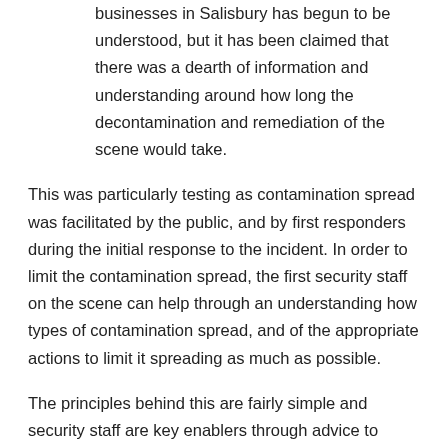businesses in Salisbury has begun to be understood, but it has been claimed that there was a dearth of information and understanding around how long the decontamination and remediation of the scene would take.
This was particularly testing as contamination spread was facilitated by the public, and by first responders during the initial response to the incident. In order to limit the contamination spread, the first security staff on the scene can help through an understanding how types of contamination spread, and of the appropriate actions to limit it spreading as much as possible.
The principles behind this are fairly simple and security staff are key enablers through advice to contaminated victims regarding limiting their movement, restricting human-to-human contact, being aware of the residual contamination left behind by victims, and ensuring contaminated items are not